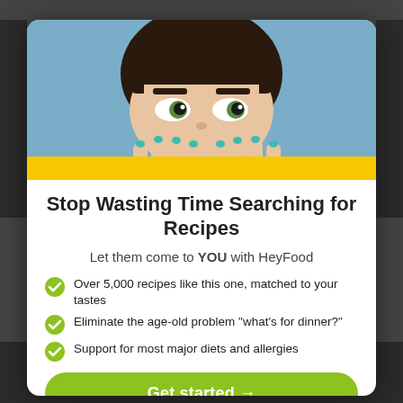[Figure (photo): A woman with dark bangs peeking over a yellow bar, set against a blue background. Her eyes are looking sideways with painted nails gripping the bar.]
Stop Wasting Time Searching for Recipes
Let them come to YOU with HeyFood
Over 5,000 recipes like this one, matched to your tastes
Eliminate the age-old problem "what's for dinner?"
Support for most major diets and allergies
Get started →